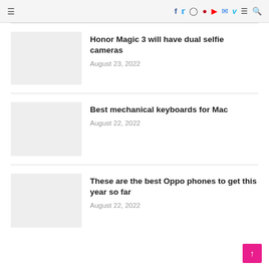☰ f t ⬜ p ▶ ✉ V ≡ 🔍
Honor Magic 3 will have dual selfie cameras
August 23, 2022
Best mechanical keyboards for Mac
August 22, 2022
These are the best Oppo phones to get this year so far
August 22, 2022